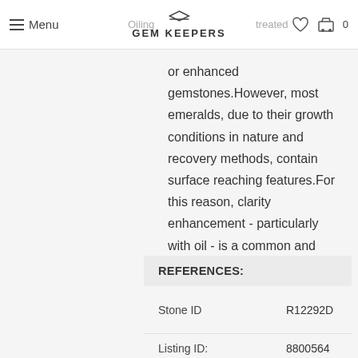Menu | GEM KEEPERS | 0
or enhanced gemstones.However, most emeralds, due to their growth conditions in nature and recovery methods, contain surface reaching features.For this reason, clarity enhancement - particularly with oil - is a common and inevitable trade practice.
REFERENCES:
| Stone ID | R12292D |
| Listing ID: | 8800564 |